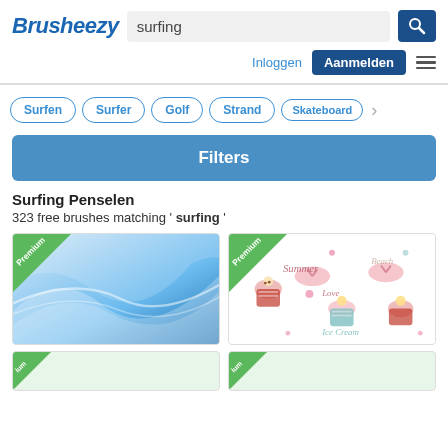[Figure (screenshot): Brusheezy website header with logo, search bar with 'surfing' query, search button, Inloggen link, Aanmelden button, and hamburger menu]
Surfen
Surfer
Golf
Strand
Skateboard
Filters
Surfing Penselen
323 free brushes matching ' surfing '
[Figure (photo): Premium blue abstract wave background thumbnail]
[Figure (illustration): Premium summer beach cupcakes and flip flops illustration thumbnail]
[Figure (photo): Premium thumbnail partially visible at bottom left]
[Figure (photo): Premium thumbnail partially visible at bottom right]